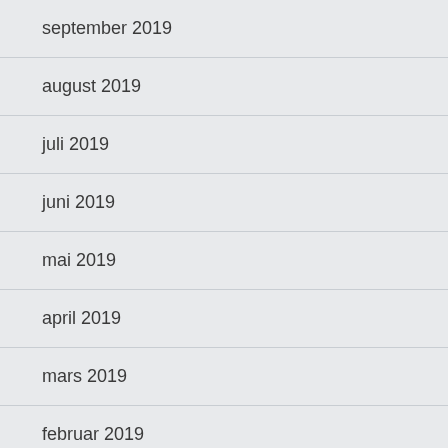september 2019
august 2019
juli 2019
juni 2019
mai 2019
april 2019
mars 2019
februar 2019
januar 2019
desember 2018